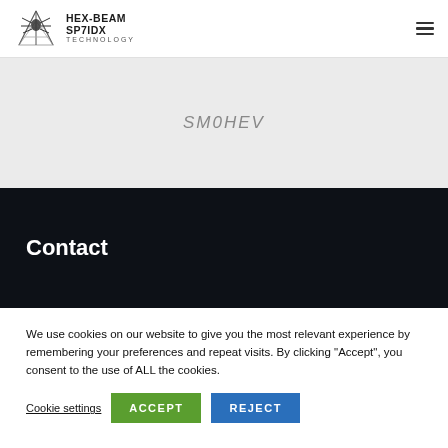HEX-BEAM SP7IDX TECHNOLOGY
SM0HEV
Contact
We use cookies on our website to give you the most relevant experience by remembering your preferences and repeat visits. By clicking "Accept", you consent to the use of ALL the cookies.
Cookie settings
ACCEPT
REJECT